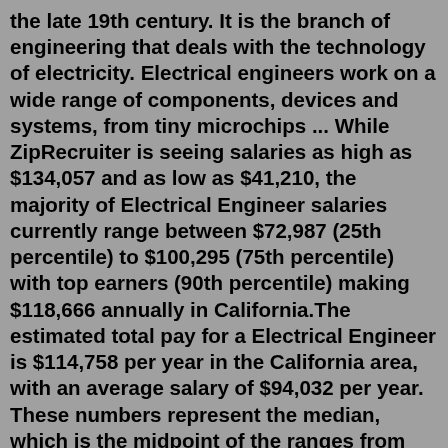the late 19th century. It is the branch of engineering that deals with the technology of electricity. Electrical engineers work on a wide range of components, devices and systems, from tiny microchips ... While ZipRecruiter is seeing salaries as high as $134,057 and as low as $41,210, the majority of Electrical Engineer salaries currently range between $72,987 (25th percentile) to $100,295 (75th percentile) with top earners (90th percentile) making $118,666 annually in California.The estimated total pay for a Electrical Engineer is $114,758 per year in the California area, with an average salary of $94,032 per year. These numbers represent the median, which is the midpoint of the ranges from our proprietary Total Pay Estimate model and based on salaries collected from our users.The average salary for a electrical engineering associate in the California is $173,338 and median salary is $173,338. Estimates are based on 529 salary records from 4 employers. Electrical Engineering Associate - highest salary Sensel Electrical Engineer in California - lowest...